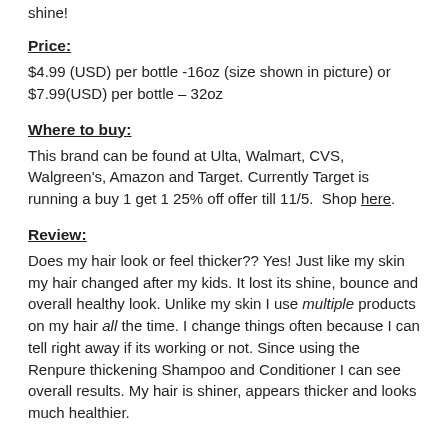shine!
Price:
$4.99 (USD) per bottle -16oz (size shown in picture) or $7.99(USD) per bottle – 32oz
Where to buy:
This brand can be found at Ulta, Walmart, CVS, Walgreen's, Amazon and Target. Currently Target is running a buy 1 get 1 25% off offer till 11/5.  Shop here.
Review:
Does my hair look or feel thicker?? Yes! Just like my skin my hair changed after my kids. It lost its shine, bounce and overall healthy look. Unlike my skin I use multiple products on my hair all the time. I change things often because I can tell right away if its working or not. Since using the Renpure thickening Shampoo and Conditioner I can see overall results. My hair is shiner, appears thicker and looks much healthier.